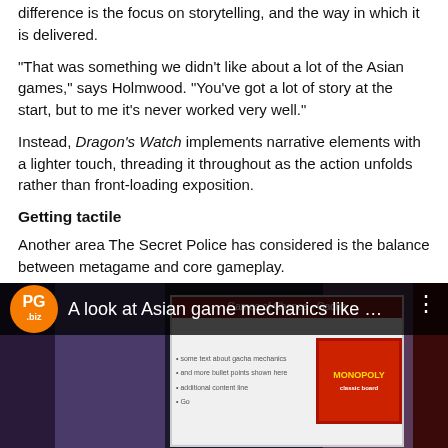difference is the focus on storytelling, and the way in which it is delivered.
"That was something we didn't like about a lot of the Asian games," says Holmwood. "You've got a lot of story at the start, but to me it's never worked very well."
Instead, Dragon's Watch implements narrative elements with a lighter touch, threading it throughout as the action unfolds rather than front-loading exposition.
Getting tactile
Another area The Secret Police has considered is the balance between metagame and core gameplay.
Often far more sophisticated and complex that Western counterparts, Asian RPGs typically focus far more heavily on metagame.
That's a pattern that's also becoming increasingly prominent worldwide, but The Secret Police believes Western gamers especially still demand satisfying, tactile controls and systems.
[Figure (screenshot): Video thumbnail with PG.biz logo and title 'A look at Asian game mechanics like ...' with a presentation slide showing 'Games of Chance - Gacha' on a screen in a dark auditorium setting.]